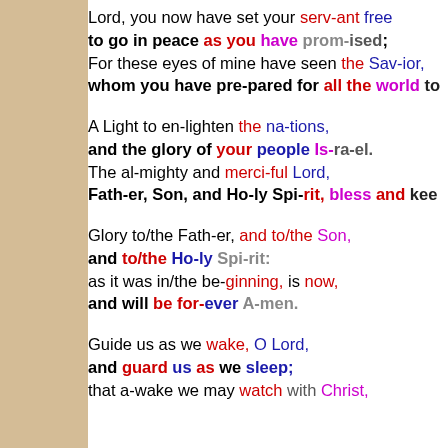Lord, you now have set your serv-ant free
to go in peace as you have prom-ised;
For these eyes of mine have seen the Sav-ior,
whom you have pre-pared for all the world to
A Light to en-lighten the na-tions,
and the glory of your people Is-ra-el.
The al-mighty and merci-ful Lord,
Fath-er, Son, and Ho-ly Spi-rit, bless and kee
Glory to/the Fath-er, and to/the Son,
and to/the Ho-ly Spi-rit:
as it was in/the be-ginning, is now,
and will be for-ever A-men.
Guide us as we wake, O Lord,
and guard us as we sleep;
that a-wake we may watch with Christ,